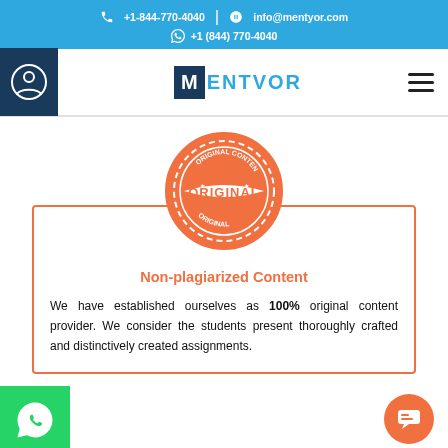+1-844-770-4040 | info@mentyor.com | +1 (844) 770-4040
[Figure (logo): Mentyor logo with user icon and hamburger menu navigation bar]
[Figure (illustration): Orange circular stamp with 'ORIGINAL' text in the center]
Non-plagiarized Content
We have established ourselves as 100% original content provider. We consider the students present thoroughly crafted and distinctively created assignments.